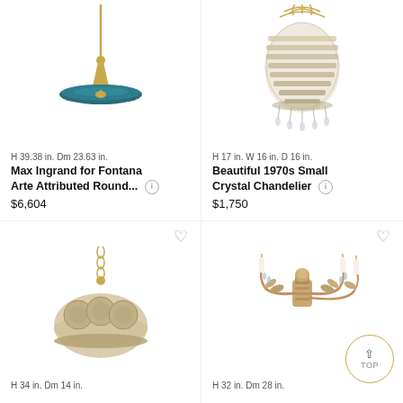[Figure (photo): Mid-century modern pendant light with brass stem and teal/blue disc shade]
H 39.38 in. Dm 23.63 in.
Max Ingrand for Fontana Arte Attributed Round...
$6,604
[Figure (photo): 1970s crystal chandelier with brass frame and hanging crystal drops]
H 17 in. W 16 in. D 16 in.
Beautiful 1970s Small Crystal Chandelier
$1,750
[Figure (photo): Round flush mount chandelier with beaded crystal frame hanging from brass chain]
H 34 in. Dm 14 in.
[Figure (photo): Floral gilt metal chandelier with candle arms and decorative leaf motifs]
H 32 in. Dm 28 in.